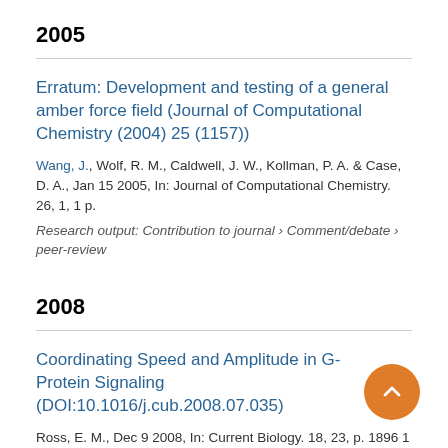2005
Erratum: Development and testing of a general amber force field (Journal of Computational Chemistry (2004) 25 (1157))
Wang, J., Wolf, R. M., Caldwell, J. W., Kollman, P. A. & Case, D. A., Jan 15 2005, In: Journal of Computational Chemistry. 26, 1, 1 p.
Research output: Contribution to journal › Comment/debate › peer-review
2008
Coordinating Speed and Amplitude in G-Protein Signaling (DOI:10.1016/j.cub.2008.07.035)
Ross, E. M., Dec 9 2008, In: Current Biology. 18, 23, p. 1896 1